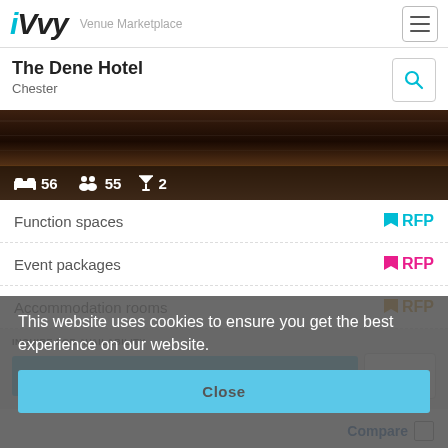iVvy Venue Marketplace
The Dene Hotel
Chester
[Figure (photo): Dark brown/wooden hotel exterior photo with stats overlay showing: bed icon 56, people icon 55, cocktail glass icon 2]
Function spaces   RFP
Event packages   RFP
Accommodation rooms   RFP
This website uses cookies to ensure you get the best experience on our website.
INQUIRE FOR AVAILABILITY
INQUIRE
Close
Compare